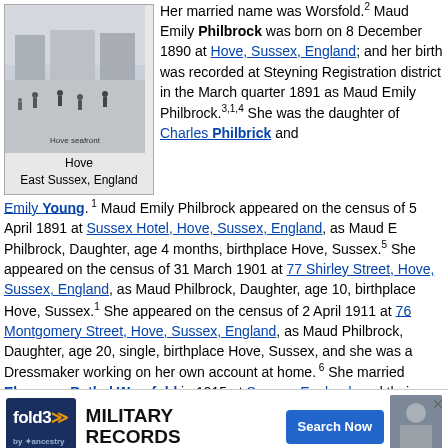[Figure (photo): Black and white historical photograph of Hove seafront with people walking, labeled 'Hove / East Sussex, England']
Her married name was Worsfold.2 Maud Emily Philbrock was born on 8 December 1890 at Hove, Sussex, England; and her birth was recorded at Steyning Registration district in the March quarter 1891 as Maud Emily Philbrock.3,1,4 She was the daughter of Charles Philbrick and Emily Young.1 Maud Emily Philbrock appeared on the census of 5 April 1891 at Sussex Hotel, Hove, Sussex, England, as Maud E Philbrock, Daughter, age 4 months, birthplace Hove, Sussex.5 She appeared on the census of 31 March 1901 at 77 Shirley Street, Hove, Sussex, England, as Maud Philbrock, Daughter, age 10, birthplace Hove, Sussex.1 She appeared on the census of 2 April 1911 at 76 Montgomery Street, Hove, Sussex, England, as Maud Philbrock, Daughter, age 20, single, birthplace Hove, Sussex, and she was a Dressmaker working on her own account at home.6 She married Ebenezer Bethel Worsfold in 1915 at Sussex, England; and their marriage was recorded at Steyning Registration district in the September quarter 1915.2 Maud Emily Philbrock and Ebenezer...1939 at Kent,...ster in the R...
[Figure (advertisement): Fold3 by Ancestry advertisement for Military Records with Search Now button]